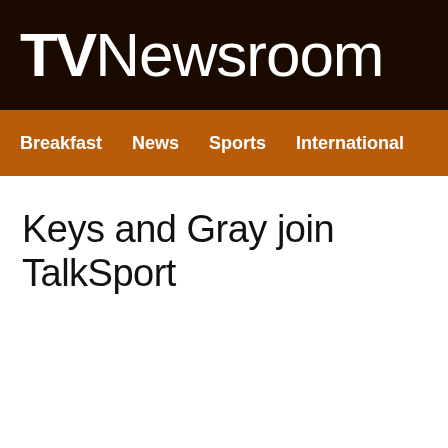TV Newsroom
Breakfast  News  Sports  International
Keys and Gray join TalkSport